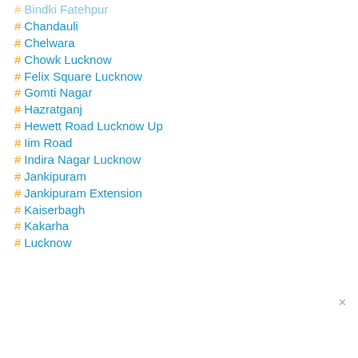# Bindki Fatehpur
# Chandauli
# Chelwara
# Chowk Lucknow
# Felix Square Lucknow
# Gomti Nagar
# Hazratganj
# Hewett Road Lucknow Up
# Iim Road
# Indira Nagar Lucknow
# Jankipuram
# Jankipuram Extension
# Kaiserbagh
# Kakarha
# Lucknow